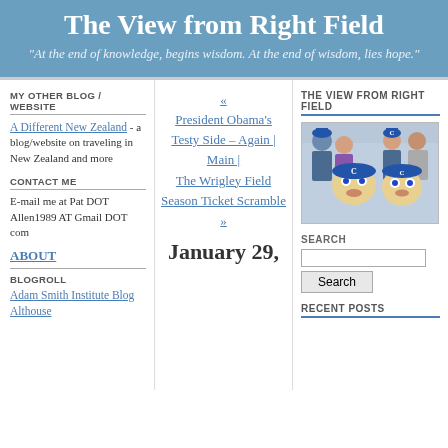The View from Right Field
"At the end of knowledge, begins wisdom. At the end of wisdom, lies hope."
MY OTHER BLOG / WEBSITE
A Different New Zealand - a blog/website on traveling in New Zealand and more
CONTACT ME
E-mail me at Pat DOT Allen1989 AT Gmail DOT com
ABOUT
BLOGROLL
Adam Smith Institute Blog
Althouse
« President Obama's Testy Side – Again | Main | The Wrigley Field Season Ticket Scramble »
January 29,
THE VIEW FROM RIGHT FIELD
[Figure (photo): Group photo of Cubs fans with large mascot head cutouts, wearing Cubs gear in blue]
SEARCH
RECENT POSTS